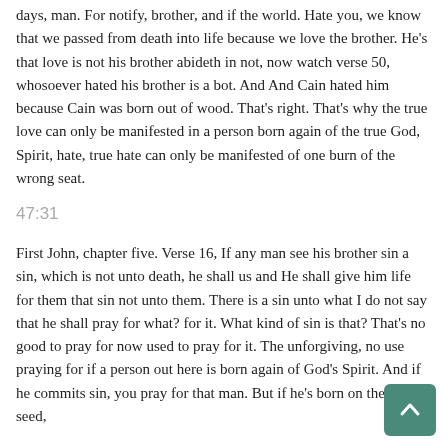days, man. For notify, brother, and if the world. Hate you, we know that we passed from death into life because we love the brother. He's that love is not his brother abideth in not, now watch verse 50, whosoever hated his brother is a bot. And And Cain hated him because Cain was born out of wood. That's right. That's why the true love can only be manifested in a person born again of the true God, Spirit, hate, true hate can only be manifested of one burn of the wrong seat.
47:31
First John, chapter five. Verse 16, If any man see his brother sin a sin, which is not unto death, he shall us and He shall give him life for them that sin not unto them. There is a sin unto what I do not say that he shall pray for what? for it. What kind of sin is that? That's no good to pray for now used to pray for it. The unforgiving, no use praying for if a person out here is born again of God's Spirit. And if he commits sin, you pray for that man. But if he's born on the wrong seed,